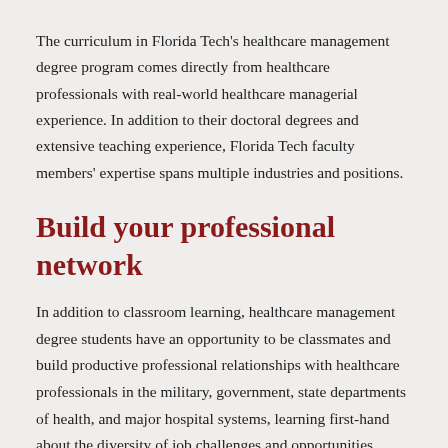The curriculum in Florida Tech's healthcare management degree program comes directly from healthcare professionals with real-world healthcare managerial experience. In addition to their doctoral degrees and extensive teaching experience, Florida Tech faculty members' expertise spans multiple industries and positions.
Build your professional network
In addition to classroom learning, healthcare management degree students have an opportunity to be classmates and build productive professional relationships with healthcare professionals in the military, government, state departments of health, and major hospital systems, learning first-hand about the diversity of job challenges and opportunities through the experience and contacts of their professional...